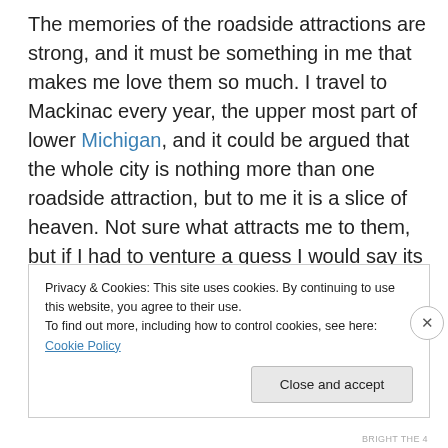The memories of the roadside attractions are strong, and it must be something in me that makes me love them so much. I travel to Mackinac every year, the upper most part of lower Michigan, and it could be argued that the whole city is nothing more than one roadside attraction, but to me it is a slice of heaven. Not sure what attracts me to them, but if I had to venture a guess I would say its the simplicity of it all. The fact that no cars are allowed on the Island or the fact that you can ride a bike around the whole Island or is it the shops that all sell the same little trinkets.
Privacy & Cookies: This site uses cookies. By continuing to use this website, you agree to their use. To find out more, including how to control cookies, see here: Cookie Policy
BRIGHT THE 4